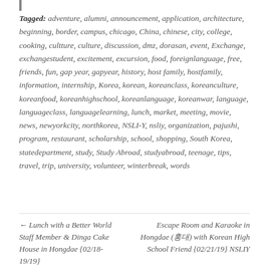Tagged: adventure, alumni, announcement, application, architecture, beginning, border, campus, chicago, China, chinese, city, college, cooking, cultture, culture, discussion, dmz, dorasan, event, Exchange, exchangestudent, excitement, excursion, food, foreignlanguage, free, friends, fun, gap year, gapyear, history, host family, hostfamily, information, internship, Korea, korean, koreanclass, koreanculture, koreanfood, koreanhighschool, koreanlanguage, koreanwar, language, languageclass, languagelearning, lunch, market, meeting, movie, news, newyorkcity, northkorea, NSLI-Y, nsliy, organization, pajushi, program, restaurant, scholarship, school, shopping, South Korea, statedepartment, study, Study Abroad, studyabroad, teenage, tips, travel, trip, university, volunteer, winterbreak, words
← Lunch with a Better World Staff Member & Dinga Cake House in Hongdae {02/18-19/19}
Escape Room and Karaoke in Hongdae (홍대) with Korean High School Friend {02/21/19} NSLIY